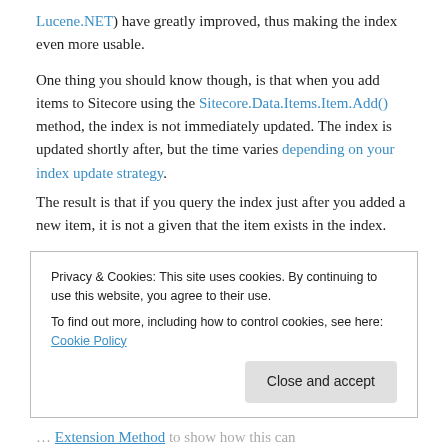Lucene.NET) have greatly improved, thus making the index even more usable.

One thing you should know though, is that when you add items to Sitecore using the Sitecore.Data.Items.Item.Add() method, the index is not immediately updated. The index is updated shortly after, but the time varies depending on your index update strategy.
The result is that if you query the index just after you added a new item, it is not a given that the item exists in the index.
Privacy & Cookies: This site uses cookies. By continuing to use this website, you agree to their use.
To find out more, including how to control cookies, see here: Cookie Policy
Close and accept